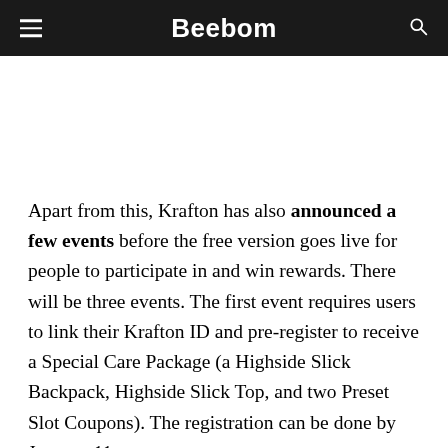Beebom
Apart from this, Krafton has also announced a few events before the free version goes live for people to participate in and win rewards. There will be three events. The first event requires users to link their Krafton ID and pre-register to receive a Special Care Package (a Highside Slick Backpack, Highside Slick Top, and two Preset Slot Coupons). The registration can be done by January 11.